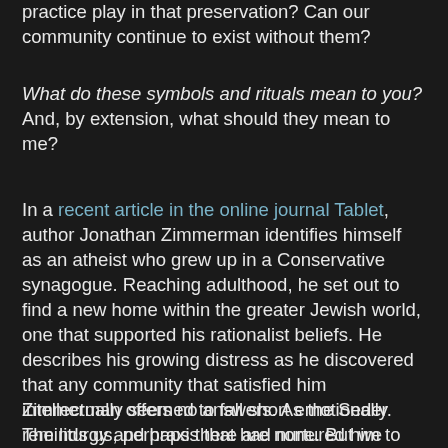practice play in that preservation? Can our community continue to exist without them?
What do these symbols and rituals mean to you? And, by extension, what should they mean to me?
In a recent article in the online journal Tablet, author Jonathan Zimmerman identifies himself as an atheist who grew up in a Conservative synagogue. Reaching adulthood, he set out to find a new home within the greater Jewish world, one that supported his rationalist beliefs. He describes his growing distress as he discovered that any community that satisfied him intellectually seemed to fall short emotionally. The liturgy and praxis that had nurtured him to adulthood were poisonous to those who shared his worldview, while his rational rejection of Abraham's God and the divine origins of Torah made it difficult for him to participate in those rituals, to recite those words, he found most comforting.
Zimmerman offers no answers. As the Seder reminds us, perhaps there are none. But we keep asking, even as, day to day, we continue to do the things that make us who we are.